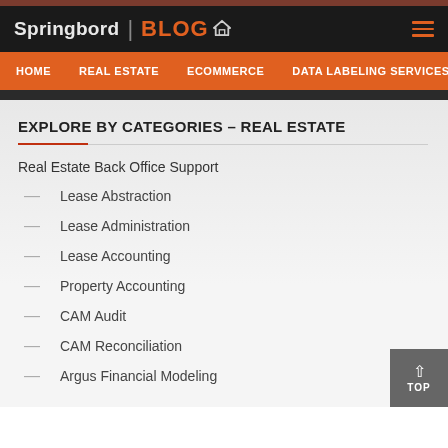Springbord | BLOG [home icon]
HOME  REAL ESTATE  ECOMMERCE  DATA LABELING SERVICES
EXPLORE BY CATEGORIES – REAL ESTATE
Real Estate Back Office Support
Lease Abstraction
Lease Administration
Lease Accounting
Property Accounting
CAM Audit
CAM Reconciliation
Argus Financial Modeling